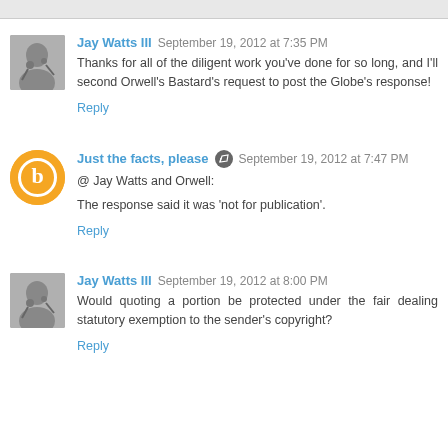Jay Watts III  September 19, 2012 at 7:35 PM
Thanks for all of the diligent work you've done for so long, and I'll second Orwell's Bastard's request to post the Globe's response!
Reply
Just the facts, please  September 19, 2012 at 7:47 PM
@ Jay Watts and Orwell:
The response said it was 'not for publication'.
Reply
Jay Watts III  September 19, 2012 at 8:00 PM
Would quoting a portion be protected under the fair dealing statutory exemption to the sender's copyright?
Reply